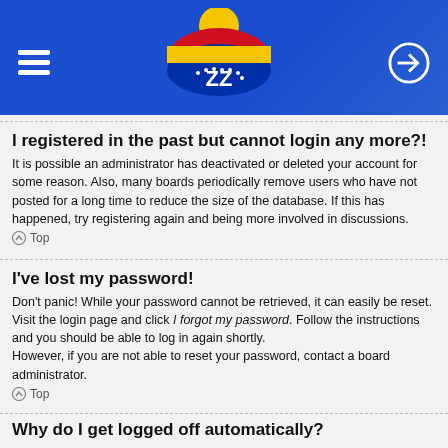[Figure (logo): Website header with blue background, hamburger menu icon on left, Venezuelan flag-colored cloud logo with 'ZZ' text in center, login icon on right]
I registered in the past but cannot login any more?!
It is possible an administrator has deactivated or deleted your account for some reason. Also, many boards periodically remove users who have not posted for a long time to reduce the size of the database. If this has happened, try registering again and being more involved in discussions.
Top
I've lost my password!
Don't panic! While your password cannot be retrieved, it can easily be reset. Visit the login page and click I forgot my password. Follow the instructions and you should be able to log in again shortly.
However, if you are not able to reset your password, contact a board administrator.
Top
Why do I get logged off automatically?